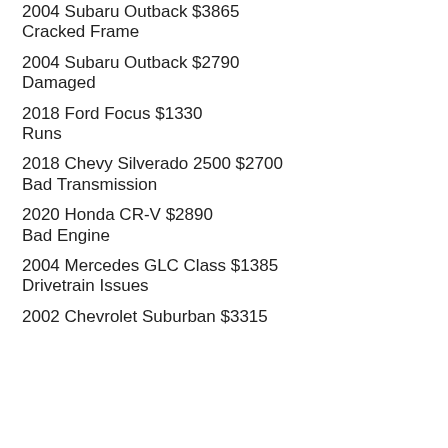2004 Subaru Outback $3865
Cracked Frame
2004 Subaru Outback $2790
Damaged
2018 Ford Focus $1330
Runs
2018 Chevy Silverado 2500 $2700
Bad Transmission
2020 Honda CR-V $2890
Bad Engine
2004 Mercedes GLC Class $1385
Drivetrain Issues
2002 Chevrolet Suburban $3315